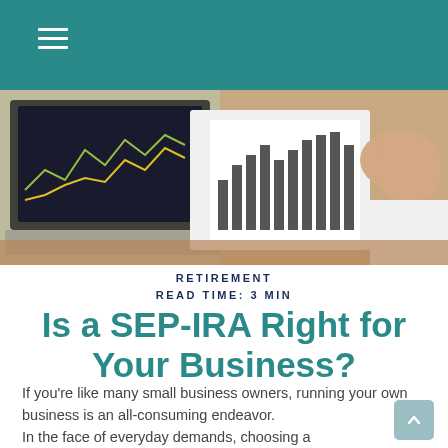[Figure (photo): Header area with teal navigation bar with hamburger menu icon (three white lines), below which is a photo of a laptop and a person's hand holding open a book or report showing financial charts and bar graphs on a wooden desk.]
RETIREMENT
READ TIME: 3 MIN
Is a SEP-IRA Right for Your Business?
If you're like many small business owners, running your own business is an all-consuming endeavor.
In the face of everyday demands, choosing a retirement